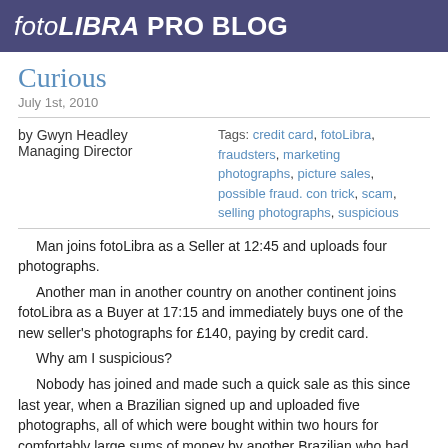fotoLIBRA PRO BLOG
Curious
July 1st, 2010
by Gwyn Headley
Managing Director
Tags: credit card, fotoLibra, fraudsters, marketing photographs, picture sales, possible fraud. con trick, scam, selling photographs, suspicious
Man joins fotoLibra as a Seller at 12:45 and uploads four photographs.
Another man in another country on another continent joins fotoLibra as a Buyer at 17:15 and immediately buys one of the new seller's photographs for £140, paying by credit card.
Why am I suspicious?
Nobody has joined and made such a quick sale as this since last year, when a Brazilian signed up and uploaded five photographs, all of which were bought within two hours for comfortably large sums of money by another Brazilian who had just signed up the same day. He too paid by credit card. 89 days later the bank snatched back the money, all of it.
Have I the right to be suspicious?